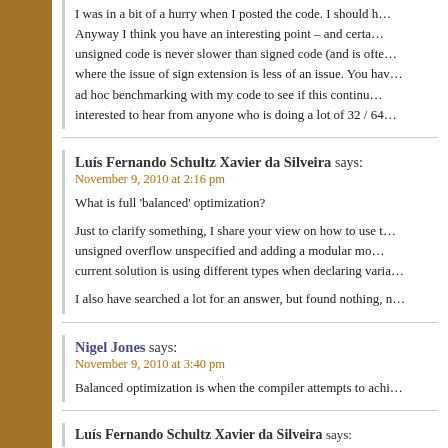I was in a bit of a hurry when I posted the code. I should h… Anyway I think you have an interesting point – and certa… unsigned code is never slower than signed code (and is offe… where the issue of sign extension is less of an issue. You hav… ad hoc benchmarking with my code to see if this continu… interested to hear from anyone who is doing a lot of 32 / 64…
Luís Fernando Schultz Xavier da Silveira says:
November 9, 2010 at 2:16 pm

What is full 'balanced' optimization?

Just to clarify something, I share your view on how to use t… unsigned overflow unspecified and adding a modular mo… current solution is using different types when declaring varia…

I also have searched a lot for an answer, but found nothing, n…
Nigel Jones says:
November 9, 2010 at 3:40 pm

Balanced optimization is when the compiler attempts to achi…
Luís Fernando Schultz Xavier da Silveira says: